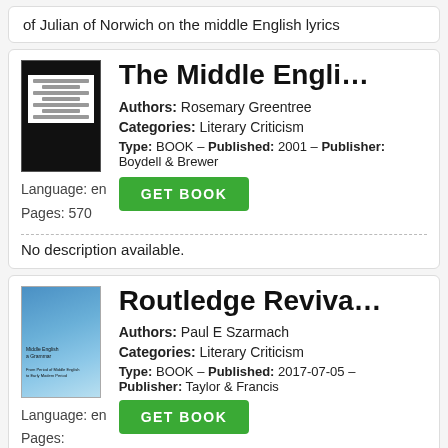of Julian of Norwich on the middle English lyrics
The Middle Engli…
Authors: Rosemary Greentree
Categories: Literary Criticism
Language: en   Pages: 570
Type: BOOK - Published: 2001 - Publisher: Boydell & Brewer
No description available.
Routledge Reviva…
Authors: Paul E Szarmach
Categories: Literary Criticism
Language: en   Pages:
Type: BOOK - Published: 2017-07-05 - Publisher: Taylor & Francis